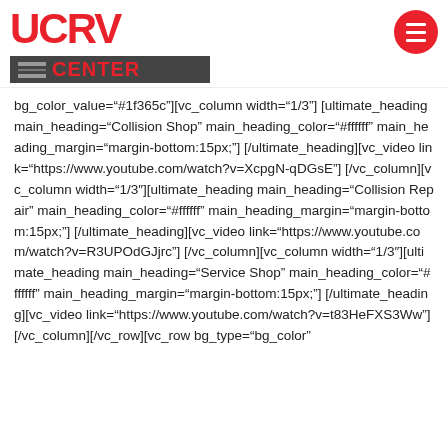UCRV CENTER
bg_color_value="#1f365c"][vc_column width="1/3"] [ultimate_heading main_heading="Collision Shop" main_heading_color="#ffffff" main_heading_margin="margin-bottom:15px;"] [/ultimate_heading][vc_video link="https://www.youtube.com/watch?v=XcpgN-qDGsE"] [/vc_column][vc_column width="1/3"][ultimate_heading main_heading="Collision Repair" main_heading_color="#ffffff" main_heading_margin="margin-bottom:15px;"] [/ultimate_heading][vc_video link="https://www.youtube.com/watch?v=R3UPOdGJjrc"] [/vc_column][vc_column width="1/3"][ultimate_heading main_heading="Service Shop" main_heading_color="#ffffff" main_heading_margin="margin-bottom:15px;"] [/ultimate_heading][vc_video link="https://www.youtube.com/watch?v=t83HeFXS3Ww"] [/vc_column][/vc_row][vc_row bg_type="bg_color"